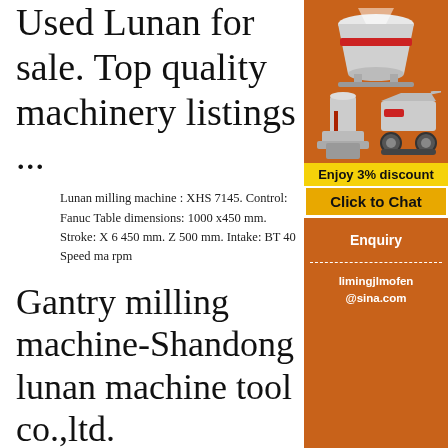Used Lunan for sale. Top quality machinery listings ...
Lunan milling machine : XHS 7145. Control: Fanuc Table dimensions: 1000 x450 mm. Stroke: X 6 450 mm. Z 500 mm. Intake: BT 40 Speed ma rpm
Gantry milling machine-Shandong lunan machine tool co.,ltd.
Gantry milling machine Shandong lunan machine tool co.,ltd National high-tech enterprises, Shandong Province ...
[Figure (illustration): Advertisement panel with orange background showing industrial machinery images (crushers, mills), 'Enjoy 3% discount' yellow bar, 'Click to Chat' button, Enquiry section, and limingjlmofen@sina.com email]